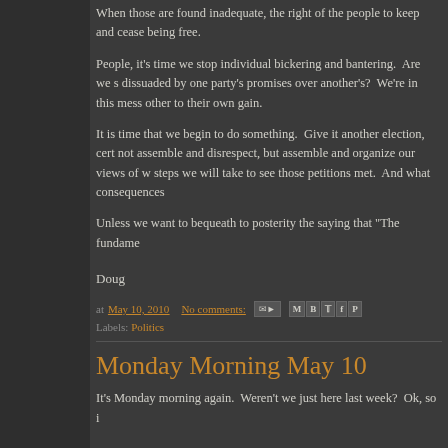When those are found inadequate, the right of the people to keep and cease being free.
People, it's time we stop individual bickering and bantering. Are we s dissuaded by one party's promises over another's? We're in this mess other to their own gain.
It is time that we begin to do something. Give it another election, cert not assemble and disrespect, but assemble and organize our views of w steps we will take to see those petitions met. And what consequences
Unless we want to bequeath to posterity the saying that "The fundame
Doug
at May 10, 2010   No comments:   [email icon] [share icons]   Labels: Politics
Monday Morning May 10
It's Monday morning again. Weren't we just here last week? Ok, so i